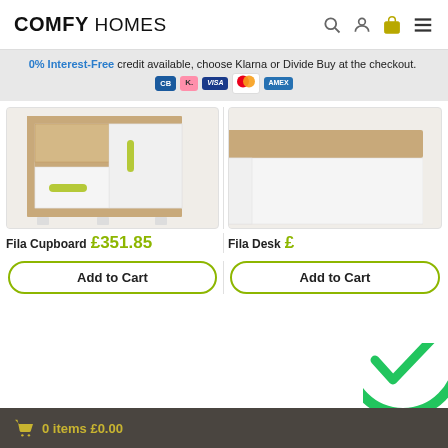COMFY HOMES
0% Interest-Free credit available, choose Klarna or Divide Buy at the checkout.
[Figure (photo): Fila Cupboard product photo - white and oak children's cupboard with green handles]
Fila Cupboard £351.85
[Figure (photo): Fila Desk product photo - white and oak children's desk, partially visible]
Fila Desk £
Add to Cart
Add to Cart
0 items £0.00